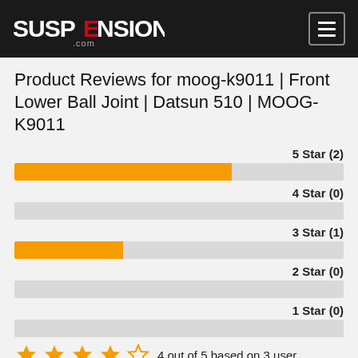Suspension.com — navigation header
Product Reviews for moog-k9011 | Front Lower Ball Joint | Datsun 510 | MOOG-K9011
[Figure (bar-chart): Star rating distribution]
4 out of 5 based on 3 user